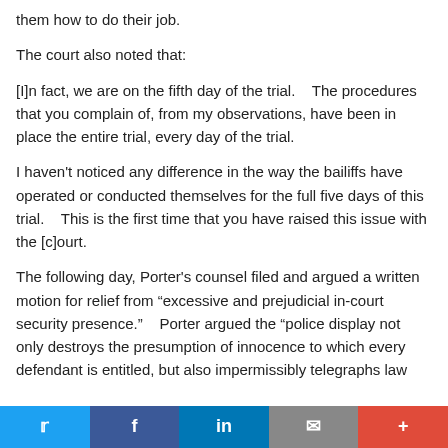them how to do their job.
The court also noted that:
[I]n fact, we are on the fifth day of the trial.    The procedures that you complain of, from my observations, have been in place the entire trial, every day of the trial.
I haven't noticed any difference in the way the bailiffs have operated or conducted themselves for the full five days of this trial.    This is the first time that you have raised this issue with the [c]ourt.
The following day, Porter's counsel filed and argued a written motion for relief from “excessive and prejudicial in-court security presence.”    Porter argued the “police display not only destroys the presumption of innocence to which every defendant is entitled, but also impermissibly telegraphs law